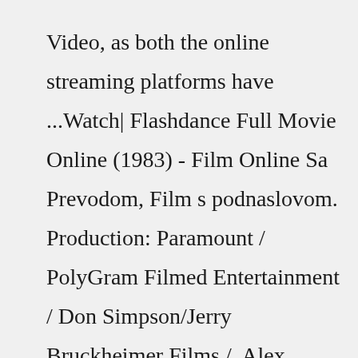Video, as both the online streaming platforms have ...Watch| Flashdance Full Movie Online (1983) - Film Online Sa Prevodom, Film s podnaslovom. Production: Paramount / PolyGram Filmed Entertainment / Don Simpson/Jerry Bruckheimer Films /. Alex Owens, a teen juggling between two odd jobs, aspires to become a successful ballet dancer. Nick, who is her boss and lover, supports and